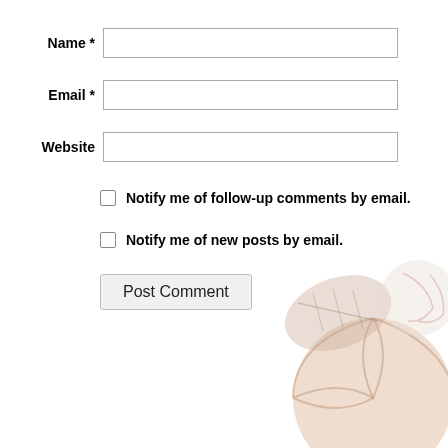Name *
Email *
Website
Notify me of follow-up comments by email.
Notify me of new posts by email.
Post Comment
[Figure (illustration): Watermark image of sports balls (football, basketball, baseball) in light pinkish-grey tones in the bottom-right corner]